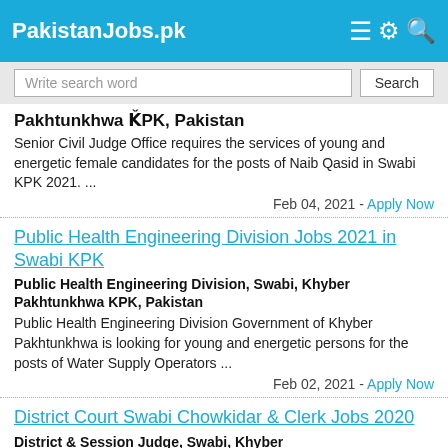PakistanJobs.pk
Write search word | Search
Pakhtunkhwa KPK, Pakistan
Senior Civil Judge Office requires the services of young and energetic female candidates for the posts of Naib Qasid in Swabi KPK 2021. ...
Feb 04, 2021 - Apply Now
Public Health Engineering Division Jobs 2021 in Swabi KPK
Public Health Engineering Division, Swabi, Khyber Pakhtunkhwa KPK, Pakistan
Public Health Engineering Division Government of Khyber Pakhtunkhwa is looking for young and energetic persons for the posts of Water Supply Operators ...
Feb 02, 2021 - Apply Now
District Court Swabi Chowkidar & Clerk Jobs 2020
District & Session Judge, Swabi, Khyber